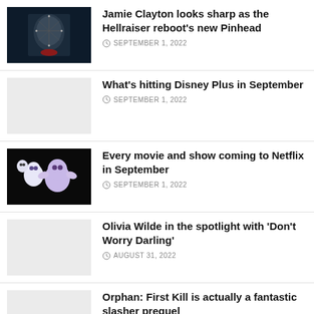Jamie Clayton looks sharp as the Hellraiser reboot's new Pinhead — SEPTEMBER 1, 2022
What's hitting Disney Plus in September — SEPTEMBER 1, 2022
Every movie and show coming to Netflix in September — SEPTEMBER 1, 2022
Olivia Wilde in the spotlight with 'Don't Worry Darling' — AUGUST 31, 2022
Orphan: First Kill is actually a fantastic slasher prequel — AUGUST 31, 2022
Fall Preview: Is it, maybe, back to normal at